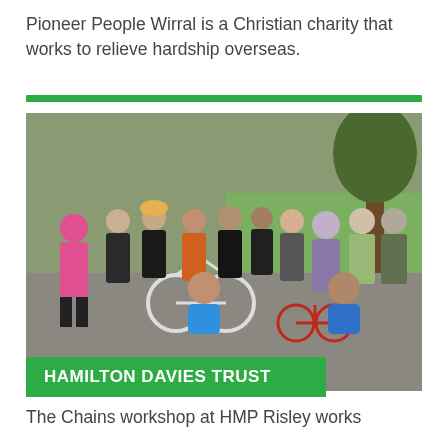Pioneer People Wirral is a Christian charity that works to relieve hardship overseas.
[Figure (photo): Group of people standing outdoors in a park setting with bicycles, two men kneeling in front, others standing behind, trees and grass in background]
HAMILTON DAVIES TRUST
The Chains workshop at HMP Risley works